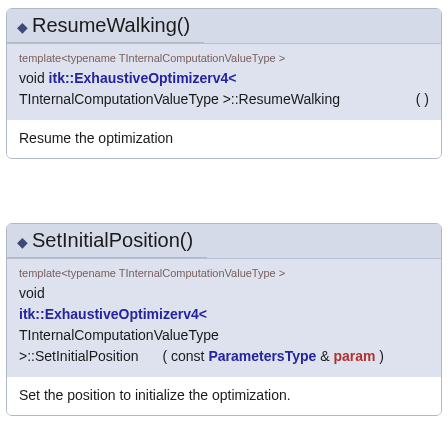◆ ResumeWalking()
template<typename TInternalComputationValueType >
void itk::ExhaustiveOptimizerv4< TInternalComputationValueType >::ResumeWalking ( )
Resume the optimization
◆ SetInitialPosition()
template<typename TInternalComputationValueType >
void itk::ExhaustiveOptimizerv4< TInternalComputationValueType >::SetInitialPosition ( const ParametersType & param )
Set the position to initialize the optimization.